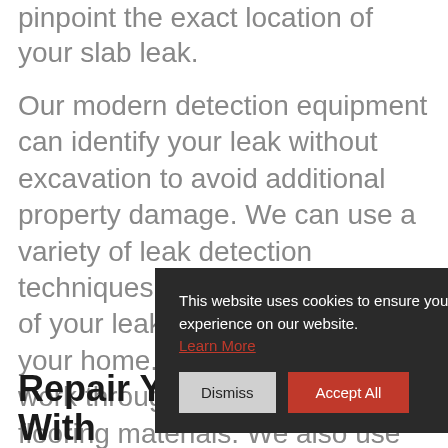pinpoint the exact location of your slab leak.
Our modern detection equipment can identify your leak without excavation to avoid additional property damage. We can use a variety of leak detection techniques based on the location of your leak and other features of your home. Our equipment will work through different types of flooring materials. We also use our video camera, which can be lowered from a nearby access point, to allow us to look at the...
[Figure (screenshot): Cookie consent banner overlay with dark background reading: 'This website uses cookies to ensure you get the best experience on our website. Learn More' with Dismiss and Accept All buttons.]
Repair Your Slab Leak With